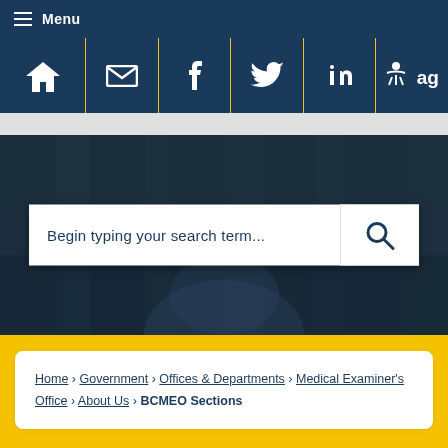Menu
[Figure (screenshot): Navigation icon bar with home, email, Facebook, Twitter, LinkedIn, and accessibility icons on dark navy background with yellow dividers]
[Figure (photo): Hero background image showing forest/woodland scene in dark blue overlay tones]
Begin typing your search term...
Home › Government › Offices & Departments › Medical Examiner's Office › About Us › BCMEO Sections